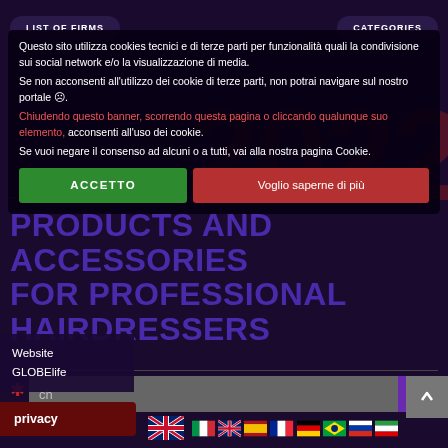LIST OF FIRMS   CATEGORIES
Questo sito utilizza cookies tecnici e di terze parti per funzionalità quali la condivisione sui social network e/o la visualizzazione di media.
Se non acconsenti all'utilizzo dei cookie di terze parti, non potrai navigare sul nostro portale ☹.
Chiudendo questo banner, scorrendo questa pagina o cliccando qualunque suo elemento, acconsenti all'uso dei cookie.
Se vuoi negare il consenso ad alcuni o a tutti, vai alla nostra pagina Cookie.
PRODUCTS AND ACCESSORIES FOR PROFESSIONAL HAIRDRESSERS
privacy
Website GLOBElife